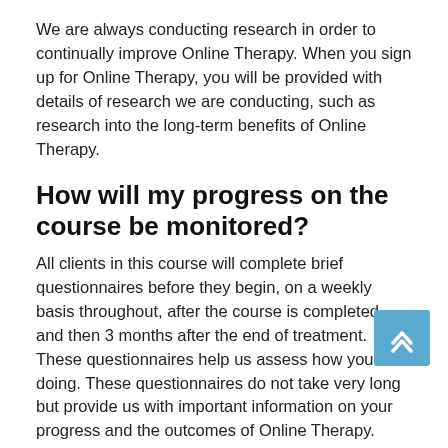We are always conducting research in order to continually improve Online Therapy. When you sign up for Online Therapy, you will be provided with details of research we are conducting, such as research into the long-term benefits of Online Therapy.
How will my progress on the course be monitored?
All clients in this course will complete brief questionnaires before they begin, on a weekly basis throughout, after the course is completed, and then 3 months after the end of treatment. These questionnaires help us assess how you are doing. These questionnaires do not take very long but provide us with important information on your progress and the outcomes of Online Therapy.
Wh...